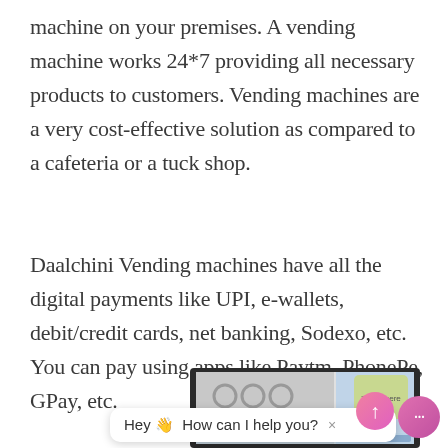machine on your premises. A vending machine works 24*7 providing all necessary products to customers. Vending machines are a very cost-effective solution as compared to a cafeteria or a tuck shop.
Daalchini Vending machines have all the digital payments like UPI, e-wallets, debit/credit cards, net banking, Sodexo, etc. You can pay using apps like Paytm, PhonePe, GPay, etc.
[Figure (photo): Photo of a Daalchini vending machine with a chat widget overlay showing 'Hey 👋 How can I help you?' and a scroll-to-top button]